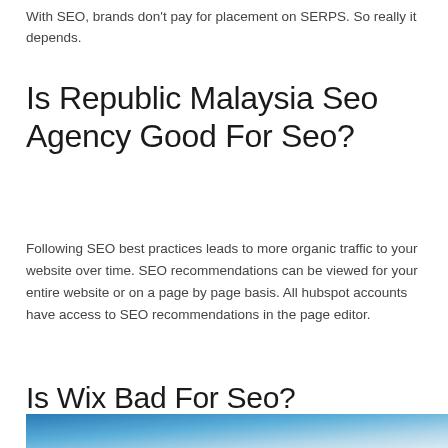With SEO, brands don't pay for placement on SERPS. So really it depends.
Is Republic Malaysia Seo Agency Good For Seo?
Following SEO best practices leads to more organic traffic to your website over time. SEO recommendations can be viewed for your entire website or on a page by page basis. All hubspot accounts have access to SEO recommendations in the page editor.
Is Wix Bad For Seo?
[Figure (photo): A blurred photo of a hand holding a pen near a blue background with dark gear/cog icons visible at the bottom, suggesting an SEO or settings-related concept.]